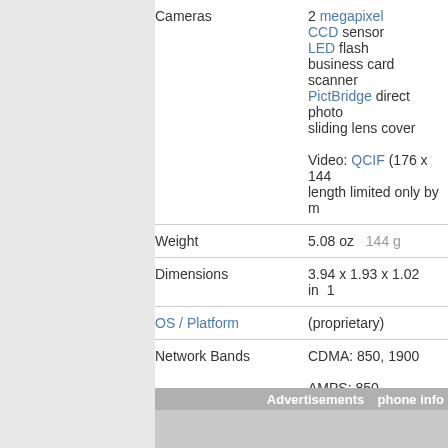| Feature | Value |
| --- | --- |
| Cameras | 2 megapixel CCD sensor LED flash business card scanner PictBridge direct photo sliding lens cover Video: QCIF (176 x 144 length limited only by m |
| Weight | 5.08 oz  144 g |
| Dimensions | 3.94 x 1.93 x 1.02 in  1... |
| OS / Platform | (proprietary) |
| Network Bands | CDMA: 850, 1900 AMPS: 850 |
| Data Technology | 1xRTT |
| Phone Book Capacity | 500 |
Advertisements  phone info